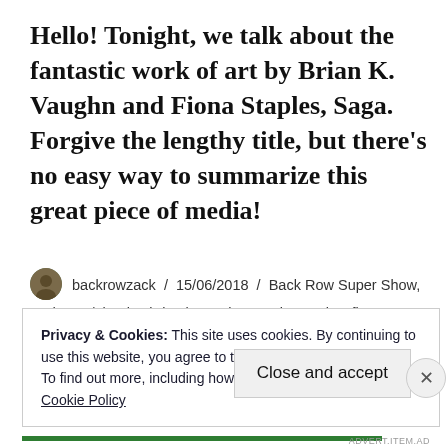Hello! Tonight, we talk about the fantastic work of art by Brian K. Vaughn and Fiona Staples, Saga. Forgive the lengthy title, but there's no easy way to summarize this great piece of media!
backrowzack / 15/06/2018 / Back Row Super Show, Podcast / books, brian k vaughn, comic, comics, fiona staples, saga / Leave a comment
Privacy & Cookies: This site uses cookies. By continuing to use this website, you agree to their use.
To find out more, including how to control cookies, see here:
Cookie Policy
Close and accept